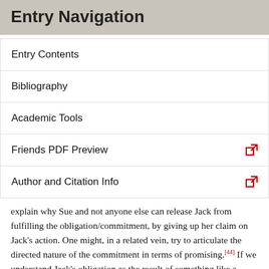Entry Navigation
Entry Contents
Bibliography
Academic Tools
Friends PDF Preview
Author and Citation Info
explain why Sue and not anyone else can release Jack from fulfilling the obligation/commitment, by giving up her claim on Jack's action. One might, in a related vein, try to articulate the directed nature of the commitment in terms of promising.[44] If we understand Jack's obligation as the result of something like a promise to Sue, we can see not only that Jack has a commitment, but that Sue is in a special position such that she can, for example, release him from fulfilling it. One drawback, at least for Gilbert, of appealing either to ownership or promising to articulate the notion of directed obligation or contralateral